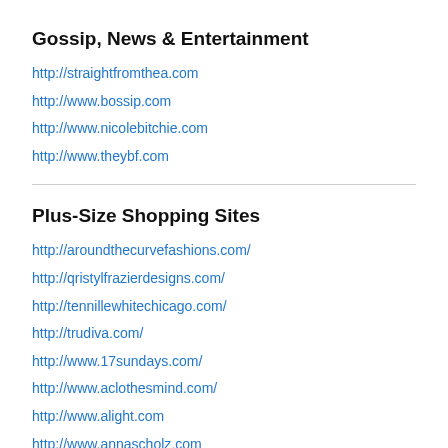Gossip, News & Entertainment
http://straightfromthea.com
http://www.bossip.com
http://www.nicolebitchie.com
http://www.theybf.com
Plus-Size Shopping Sites
http://aroundthecurvefashions.com/
http://qristylfrazierdesigns.com/
http://tennillewhitechicago.com/
http://trudiva.com/
http://www.17sundays.com/
http://www.aclothesmind.com/
http://www.alight.com
http://www.annascholz.com
http://www.ashleystewart.com
http://www.asos.com